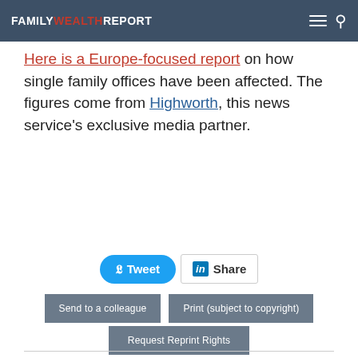FAMILY WEALTH REPORT
Here is a Europe-focused report on how single family offices have been affected. The figures come from Highworth, this news service's exclusive media partner.
[Figure (other): Social sharing buttons: Tweet (Twitter) and Share (LinkedIn)]
[Figure (other): Action buttons: Send to a colleague, Print (subject to copyright), Request Reprint Rights]